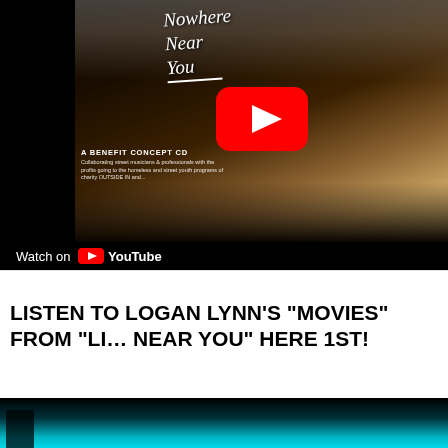[Figure (screenshot): YouTube video embed showing 'Nowhere Near You' benefit concept CD. Video thumbnail shows two figures on a dark road with handwritten title text and a YouTube play button. Bottom bar shows 'Watch on YouTube' branding.]
LISTEN TO LOGAN LYNN'S "MOVIES" FROM "LI... NEAR YOU" HERE 1ST!
[Figure (screenshot): Second YouTube video embed partially visible at bottom, showing a dark image transitioning to cyan/teal color at the bottom.]